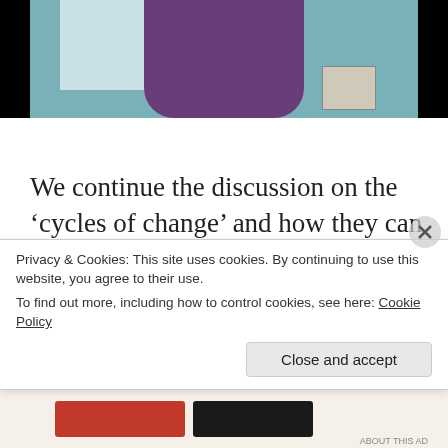[Figure (screenshot): Video call screenshot showing a person in purple/dark clothing against a teal/blue background, with a lamp visible on the left and a small thumbnail of another participant in the bottom right corner. Black borders on left and right.]
We continue the discussion on the ‘cycles of change’ and how they can be mapped through astrology. Also, we are in the time of ‘The Great Transformation’ dictated by an underlying current of force. This force being Tesla’s ‘Zero
Privacy & Cookies: This site uses cookies. By continuing to use this website, you agree to their use.
To find out more, including how to control cookies, see here: Cookie Policy
Close and accept